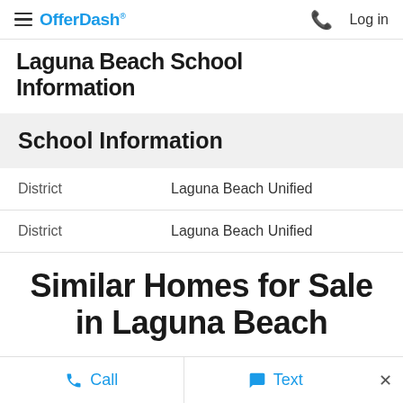OfferDash — Log in
Laguna Beach School Information
School Information
|  |  |
| --- | --- |
| District | Laguna Beach Unified |
| District | Laguna Beach Unified |
Similar Homes for Sale in Laguna Beach
Call   Text   ×